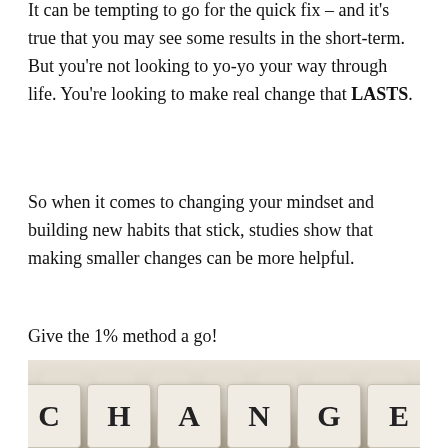It can be tempting to go for the quick fix – and it's true that you may see some results in the short-term. But you're not looking to yo-yo your way through life. You're looking to make real change that LASTS.
So when it comes to changing your mindset and building new habits that stick, studies show that making smaller changes can be more helpful.
Give the 1% method a go!
[Figure (photo): Close-up photo of small letter cubes arranged to spell CHANGE on a blurred background of similar cubes]